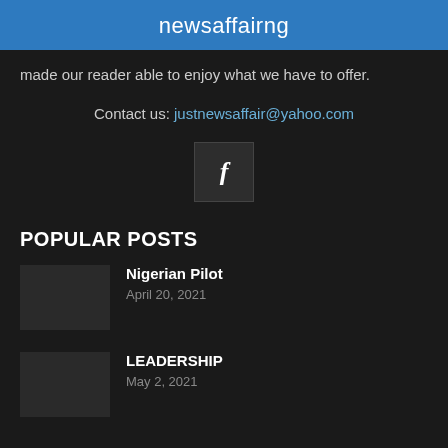newsaffairng
made our reader able to enjoy what we have to offer.
Contact us: justnewsaffair@yahoo.com
[Figure (logo): Facebook icon button, dark square with white 'f' letter]
POPULAR POSTS
Nigerian Pilot
April 20, 2021
LEADERSHIP
May 2, 2021